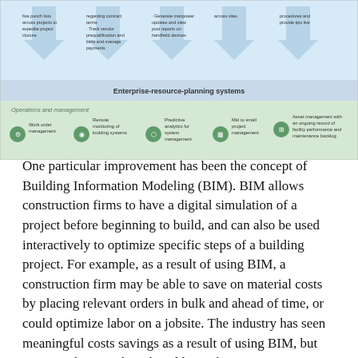[Figure (infographic): An infographic showing enterprise-resource-planning systems and operations and management categories with icons and bullet points for construction/facility management tasks including work order management, remote monitoring of building systems, predictive analytics for system management, mid to small project management, and asset management with an ongoing record of facility performance and maintenance backlog.]
One particular improvement has been the concept of Building Information Modeling (BIM). BIM allows construction firms to have a digital simulation of a project before beginning to build, and can also be used interactively to optimize specific steps of a building project. For example, as a result of using BIM, a construction firm may be able to save on material costs by placing relevant orders in bulk and ahead of time, or could optimize labor on a jobsite. The industry has seen meaningful costs savings as a result of using BIM, but remains slow to adopt the additional numerous